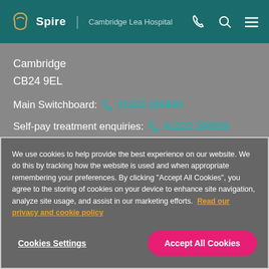Spire | Cambridge Lea Hospital
Cambridge
CB24 9EL
Main Switchboard: 01223 266900
Self-pay treatment enquiries: 01223 266929
We use cookies to help provide the best experience on our website. We do this by tracking how the website is used and when appropriate remembering your preferences. By clicking "Accept All Cookies", you agree to the storing of cookies on your device to enhance site navigation, analyze site usage, and assist in our marketing efforts. Read our privacy and cookie policy
Cookies Settings
Accept All Cookies